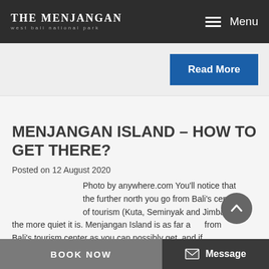THE MENJANGAN west bali national park | Menu
Read More
MENJANGAN ISLAND – HOW TO GET THERE?
Posted on 12 August 2020
Photo by anywhere.com You'll notice that the further north you go from Bali's center of tourism (Kuta, Seminyak and Jimbaran), the more quiet it is. Menjangan Island is as far away from Bali's tourism center as you can possibly get, and if
BOOK NOW | Message